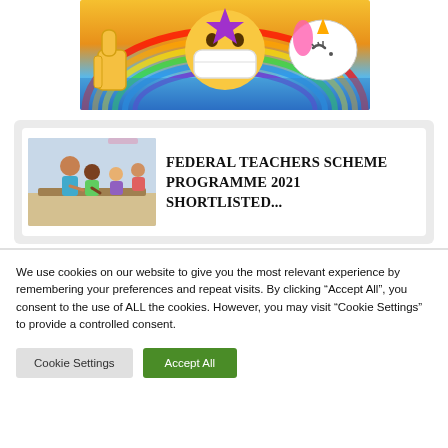[Figure (illustration): Colorful emoji-themed illustration with thumbs up, masked face with star, rainbow, and unicorn on a rainbow gradient background]
[Figure (photo): Photo of a teacher helping students in a classroom setting]
FEDERAL TEACHERS SCHEME PROGRAMME 2021 SHORTLISTED...
We use cookies on our website to give you the most relevant experience by remembering your preferences and repeat visits. By clicking “Accept All”, you consent to the use of ALL the cookies. However, you may visit “Cookie Settings” to provide a controlled consent.
Cookie Settings
Accept All